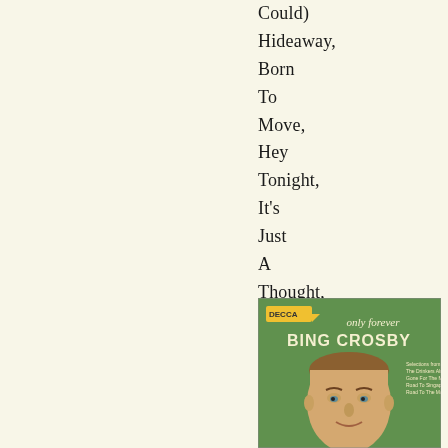Could) Hideaway, Born To Move, Hey Tonight, It's Just A Thought, Molina, Rude Awakening #2.
[Figure (photo): Album cover for 'Only Forever' by Bing Crosby on Decca Records. Green background with large text 'only forever BING CROSBY' and a portrait photo of Bing Crosby.]